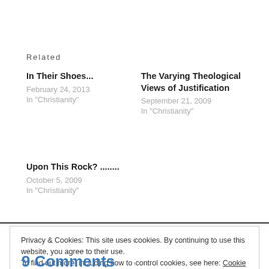Related
In Their Shoes...
February 24, 2013
In "Christianity"
The Varying Theological Views of Justification
September 21, 2009
In "Christianity"
Upon This Rock? ........
October 5, 2009
In "Christianity"
Privacy & Cookies: This site uses cookies. By continuing to use this website, you agree to their use. To find out more, including how to control cookies, see here: Cookie Policy
Close and accept
9 Comments